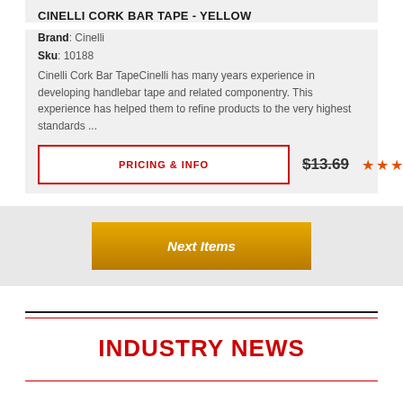CINELLI CORK BAR TAPE - YELLOW
Brand: Cinelli
Sku: 10188
Cinelli Cork Bar TapeCinelli has many years experience in developing handlebar tape and related componentry. This experience has helped them to refine products to the very highest standards ...
PRICING & INFO
$13.69
★★★★★
Next Items
INDUSTRY NEWS